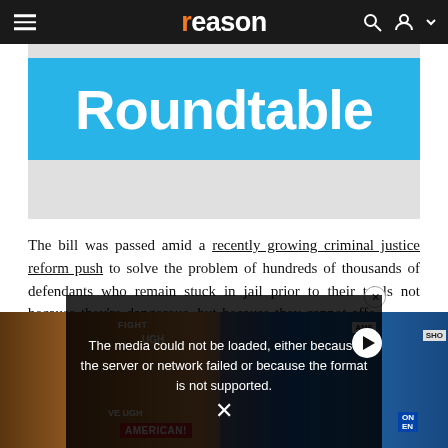reason
[Figure (illustration): Reason Roundtable banner with blue background and white bold text reading 'Roundtable']
The bill was passed amid a recently growing criminal justice reform push to solve the problem of hundreds of thousands of defendants who remain stuck in jail prior to their trials not because they're dangerous, but because they cannot afford bail. They're awaiting trial before the courts. They haven't been convicted of anything, but they're stuck in jail, sometimes for years. They don't have the money to pay for their release. As a result, those who are locked up often end up taking bad plea deals and longer sentences than they would had they been free to fight the charges.
[Figure (screenshot): Video player error overlay: 'The media could not be loaded, either because the server or network failed or because the format is not supported.' with an X close button and play button icon. Background shows protest photo with signs reading AMERICAN!, AME, SHO, ON EN, FIGHT, UGH.]